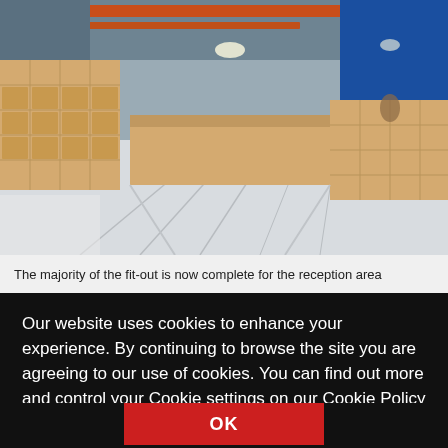[Figure (photo): Interior photo of a large commercial space under construction/fit-out, showing light wood modular shelving units and cabinets along the left wall and in the center, polished light-colored floor, industrial ceiling with orange beams and hanging lights, and a blue wall visible at the far right. Workers visible in the background.]
The majority of the fit-out is now complete for the reception area
Our website uses cookies to enhance your experience. By continuing to browse the site you are agreeing to our use of cookies. You can find out more and control your Cookie settings on our Cookie Policy page.